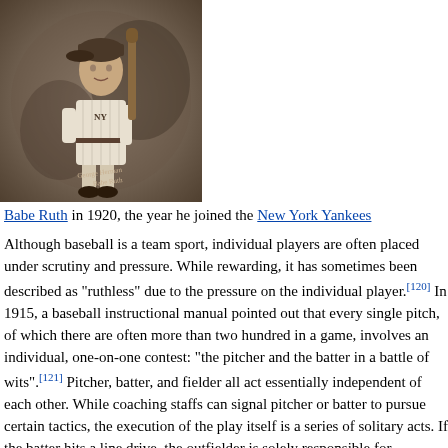[Figure (photo): Sepia-toned photograph of Babe Ruth in 1920 in baseball uniform, holding a bat, with a signature on the photo reading 'George Herman Babe Ruth']
Babe Ruth in 1920, the year he joined the New York Yankees
Although baseball is a team sport, individual players are often placed under scrutiny and pressure. While rewarding, it has sometimes been described as "ruthless" due to the pressure on the individual player.[120] In 1915, a baseball instructional manual pointed out that every single pitch, of which there are often more than two hundred in a game, involves an individual, one-on-one contest: "the pitcher and the batter in a battle of wits".[121] Pitcher, batter, and fielder all act essentially independent of each other. While coaching staffs can signal pitcher or batter to pursue certain tactics, the execution of the play itself is a series of solitary acts. If the batter hits a line drive, the outfielder is solely responsible for